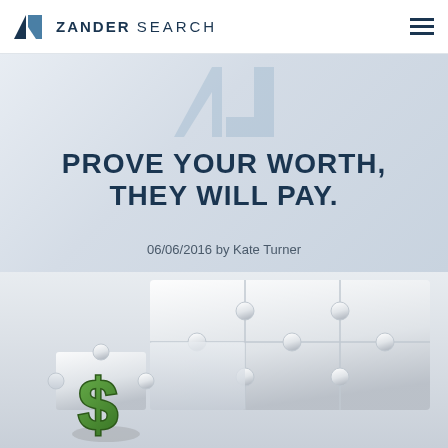ZANDER SEARCH
PROVE YOUR WORTH, THEY WILL PAY.
06/06/2016 by Kate Turner
[Figure (illustration): 3D white puzzle pieces with a green dollar sign fitting into a missing puzzle slot, representing value and compensation]